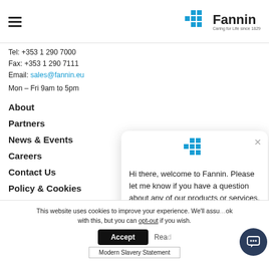Fannin — Caring for Life since 1829
Tel: +353 1 290 7000
Fax: +353 1 290 7111
Email: sales@fannin.eu
Mon – Fri 9am to 5pm
About
Partners
News & Events
Careers
Contact Us
Policy & Cookies
[Figure (screenshot): Chat popup: Hi there, welcome to Fannin. Please let me know if you have a question about any of our products or services.]
This website uses cookies to improve your experience. We'll assume you're ok with this, but you can opt-out if you wish. Accept | Read
Modern Slavery Statement